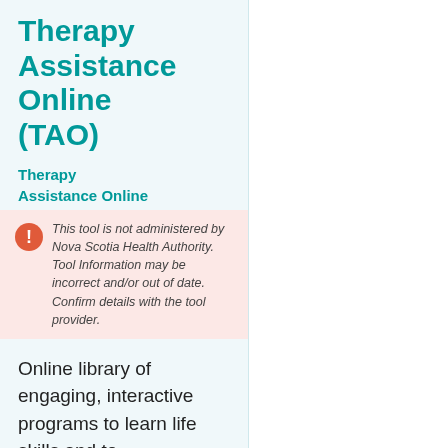Therapy Assistance Online (TAO)
Therapy
Assistance Online
This tool is not administered by Nova Scotia Health Authority. Tool Information may be incorrect and/or out of date. Confirm details with the tool provider.
Online library of engaging, interactive programs to learn life skills and to